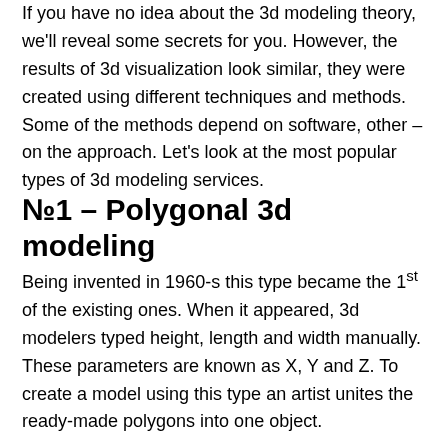If you have no idea about the 3d modeling theory, we'll reveal some secrets for you. However, the results of 3d visualization look similar, they were created using different techniques and methods. Some of the methods depend on software, other – on the approach. Let's look at the most popular types of 3d modeling services.
№1 – Polygonal 3d modeling
Being invented in 1960-s this type became the 1st of the existing ones. When it appeared, 3d modelers typed height, length and width manually. These parameters are known as X, Y and Z. To create a model using this type an artist unites the ready-made polygons into one object.